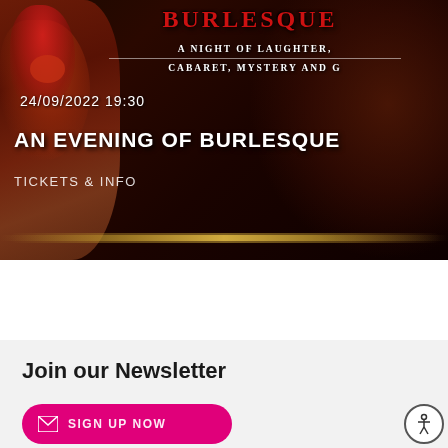[Figure (photo): Event promotional banner image showing a burlesque performer in red costume on a dark background. Text overlay shows the event name (partially visible, stylized red title), subtitle 'A NIGHT OF LAUGHTER, CABARET, MYSTERY AND G...' with a horizontal rule, date '24/09/2022 19:30', event title 'AN EVENING OF BURLESQUE', and a link 'TICKETS & INFO'.]
AN EVENING OF BURLESQUE
24/09/2022 19:30
TICKETS & INFO
Join our Newsletter
SIGN UP NOW